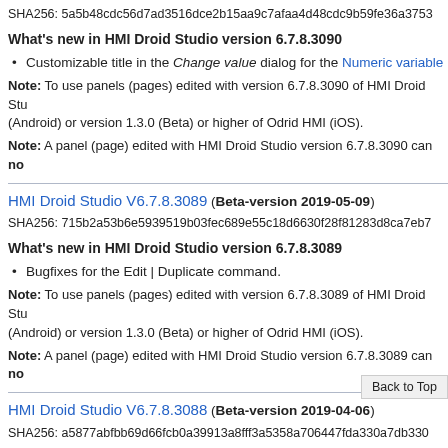SHA256: 5a5b48cdc56d7ad3516dce2b15aa9c7afaa4d48cdc9b59fe36a3753
What's new in HMI Droid Studio version 6.7.8.3090
Customizable title in the Change value dialog for the Numeric variable
Note: To use panels (pages) edited with version 6.7.8.3090 of HMI Droid Studio (Android) or version 1.3.0 (Beta) or higher of Odrid HMI (iOS).
Note: A panel (page) edited with HMI Droid Studio version 6.7.8.3090 can no
HMI Droid Studio V6.7.8.3089 (Beta-version 2019-05-09)
SHA256: 715b2a53b6e5939519b03fec689e55c18d6630f28f81283d8ca7eb7
What's new in HMI Droid Studio version 6.7.8.3089
Bugfixes for the Edit | Duplicate command.
Note: To use panels (pages) edited with version 6.7.8.3089 of HMI Droid Studio (Android) or version 1.3.0 (Beta) or higher of Odrid HMI (iOS).
Note: A panel (page) edited with HMI Droid Studio version 6.7.8.3089 can no
HMI Droid Studio V6.7.8.3088 (Beta-version 2019-04-06)
SHA256: a5877abfbb69d66fcb0a39913a8fff3a5358a706447fda330a7db330